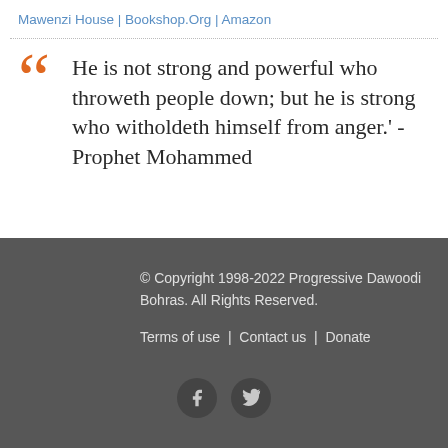Mawenzi House | Bookshop.Org | Amazon
He is not strong and powerful who throweth people down; but he is strong who witholdeth himself from anger.' - Prophet Mohammed
© Copyright 1998-2022 Progressive Dawoodi Bohras. All Rights Reserved.
Terms of use | Contact us | Donate